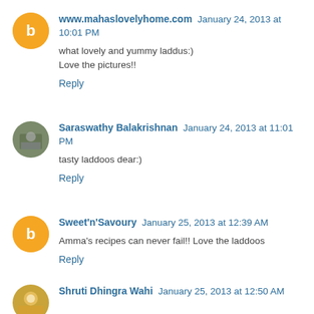www.mahaslovelyhome.com January 24, 2013 at 10:01 PM
what lovely and yummy laddus:)
Love the pictures!!
Reply
Saraswathy Balakrishnan January 24, 2013 at 11:01 PM
tasty laddoos dear:)
Reply
Sweet'n'Savoury January 25, 2013 at 12:39 AM
Amma's recipes can never fail!! Love the laddoos
Reply
Shruti Dhingra Wahi January 25, 2013 at 12:50 AM